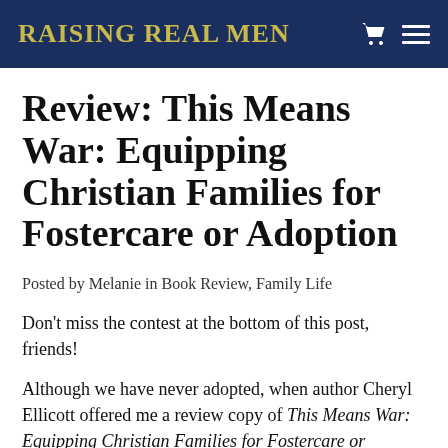Raising Real Men
Review: This Means War: Equipping Christian Families for Fostercare or Adoption
Posted by Melanie in Book Review, Family Life
Don’t miss the contest at the bottom of this post, friends!
Although we have never adopted, when author Cheryl Ellicott offered me a review copy of This Means War: Equipping Christian Families for Fostercare or Adoption, I jumped at